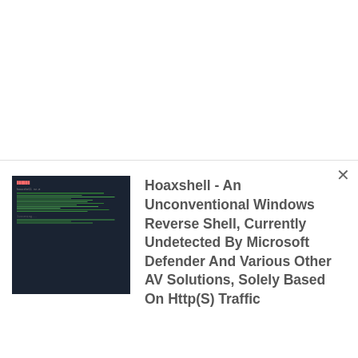[Figure (screenshot): Terminal screenshot with dark background and green text lines]
Hoaxshell - An Unconventional Windows Reverse Shell, Currently Undetected By Microsoft Defender And Various Other AV Solutions, Solely Based On Http(S) Traffic
[Figure (logo): RPCMon circular logo with teal/blue background, eye icon at top, RPCMon text, and zigzag wave at bottom]
RPCMon - RPC Monitor Tool Based On Event Tracing For Windows
[Figure (photo): Dark teal/cyan digital/cyber themed image with glowing orbs]
Concealed_Code_Execution - Tools And